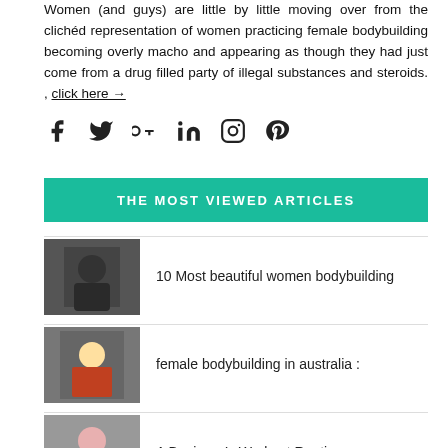Women (and guys) are little by little moving over from the clichéd representation of women practicing female bodybuilding becoming overly macho and appearing as though they had just come from a drug filled party of illegal substances and steroids. , click here →
[Figure (infographic): Social media share icons: Facebook, Twitter, Google+, LinkedIn, Instagram, Pinterest]
THE MOST VIEWED ARTICLES
[Figure (photo): Photo of female bodybuilder in black outfit showing abs]
10 Most beautiful women bodybuilding
[Figure (photo): Photo of female bodybuilder in colorful outfit posing]
female bodybuilding in australia :
[Figure (photo): Photo of female bodybuilder in purple top flexing arms]
A Beginner's Workout Routine :